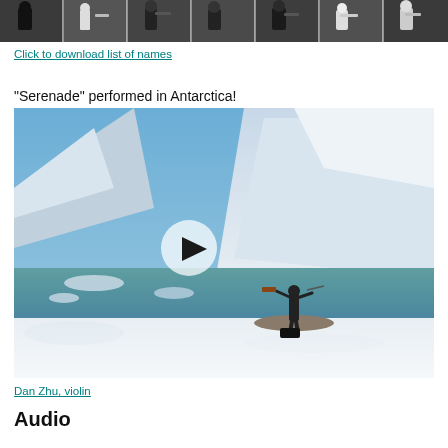[Figure (photo): Strip of photos showing orchestra musicians performing, multiple frames across the top of the page]
Click to download list of names
"Serenade" performed in Antarctica!
[Figure (screenshot): Video thumbnail showing a violinist (Dan Zhu) standing on snow in Antarctica with snowy mountains and icy water in the background. A play button is overlaid in the center.]
Dan Zhu, violin
Audio